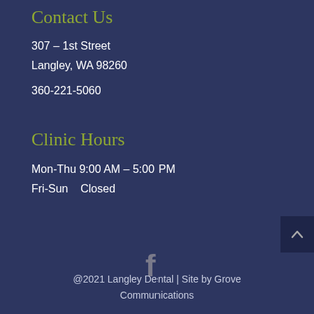Contact Us
307 – 1st Street
Langley, WA 98260
360-221-5060
Clinic Hours
Mon-Thu 9:00 AM – 5:00 PM
Fri-Sun   Closed
[Figure (logo): Facebook icon (f) in muted gray color]
@2021 Langley Dental | Site by Grove Communications